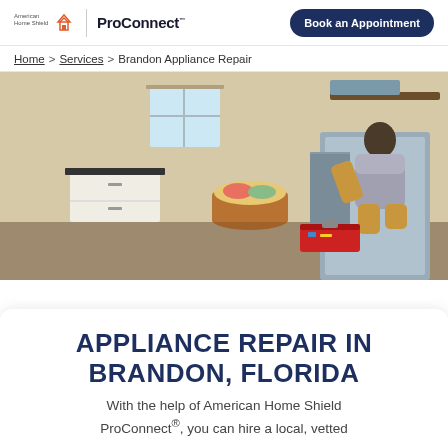American Home Shield | ProConnect — Book an Appointment
Home > Services > Brandon Appliance Repair
[Figure (photo): A man crouching down and working on a stainless steel appliance (washer/dryer) in a laundry room, with a toolbox open beside him and a laundry basket in the background.]
APPLIANCE REPAIR IN BRANDON, FLORIDA
With the help of American Home Shield ProConnect®, you can hire a local, vetted